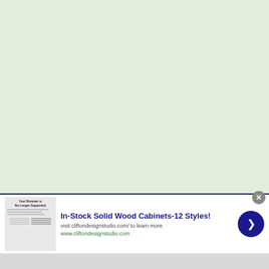[Figure (other): Large light green background area filling the upper portion of the page]
[Figure (screenshot): Advertisement banner for Clifton Design Studio showing an ad for In-Stock Solid Wood Cabinets-12 Styles. Contains a thumbnail image showing a browser-not-supported message, ad headline text, subtext, URL, a close button (X), and a blue circular arrow/next button.]